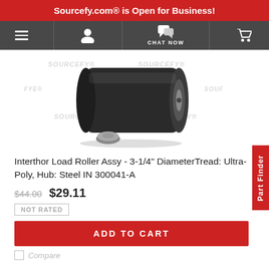Sourcefy.com® is Open for Business!
[Figure (photo): Interthor load roller assembly, black cylindrical roller with steel hub and bearing visible, Sourcefy watermarks overlaid on white background]
Interthor Load Roller Assy - 3-1/4" DiameterTread: Ultra-Poly, Hub: Steel IN 300041-A
$44.00  $29.11
NOT RATED
ADD TO CART
Compare